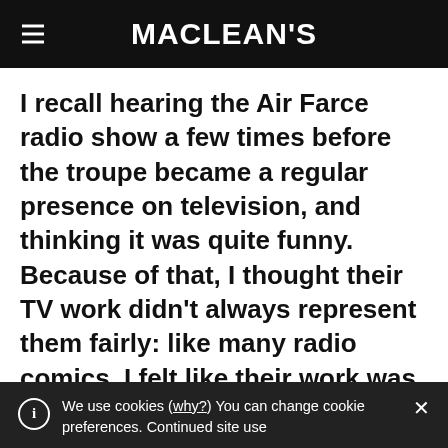MACLEAN'S
I recall hearing the Air Farce radio show a few times before the troupe became a regular presence on television, and thinking it was quite funny. Because of that, I thought their TV work didn't always represent them fairly: like many radio comics, I felt like their work was both looser and sharper when it was unencumbered by props or make-up. (In Canada this goes as far back as Wayne and Shuster, whose work
We use cookies (why?) You can change cookie preferences. Continued site use